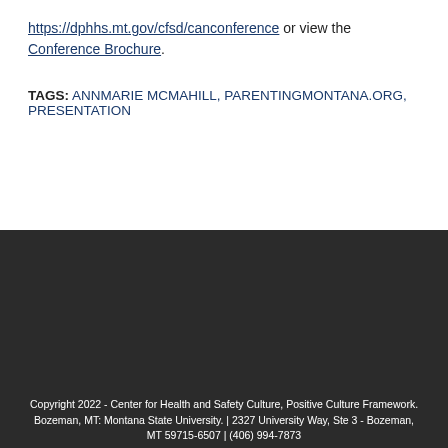https://dphhs.mt.gov/cfsd/canconference or view the Conference Brochure.
TAGS: ANNMARIE MCMAHILL, PARENTINGMONTANA.ORG, PRESENTATION
Copyright 2022 - Center for Health and Safety Culture, Positive Culture Framework. Bozeman, MT: Montana State University. | 2327 University Way, Ste 3 - Bozeman, MT 59715-6507 | (406) 994-7873